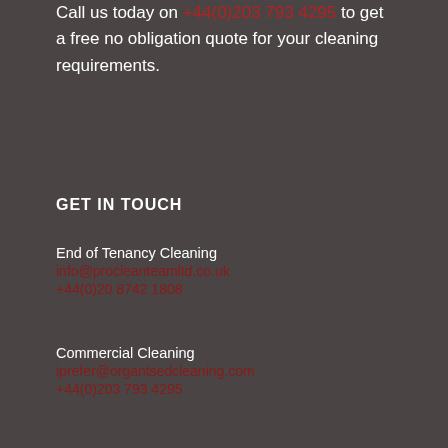Call us today on +44(0)203 793 4295 to get a free no obligation quote for your cleaning requirements.
GET IN TOUCH
End of Tenancy Cleaning
info@procleanteamltd.co.uk
+44(0)20 8742 1808
Commercial Cleaning
iprefer@organtsedcleaning.com
+44(0)203 793 4295